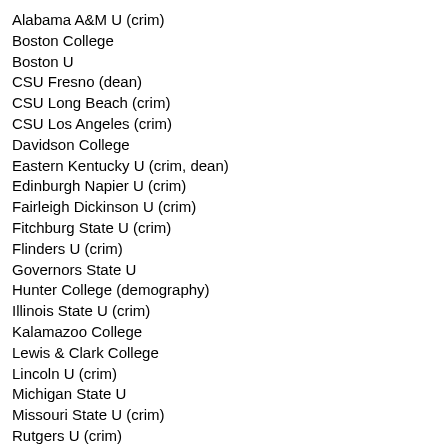Alabama A&M U (crim)
Boston College
Boston U
CSU Fresno (dean)
CSU Long Beach (crim)
CSU Los Angeles (crim)
Davidson College
Eastern Kentucky U (crim, dean)
Edinburgh Napier U (crim)
Fairleigh Dickinson U (crim)
Fitchburg State U (crim)
Flinders U (crim)
Governors State U
Hunter College (demography)
Illinois State U (crim)
Kalamazoo College
Lewis & Clark College
Lincoln U (crim)
Michigan State U
Missouri State U (crim)
Rutgers U (crim)
Salem State U (crim)
Sam Houston (crim, 6 lines)
Syracuse (2 lines)
Texas A&M Corpus Christi (crim)